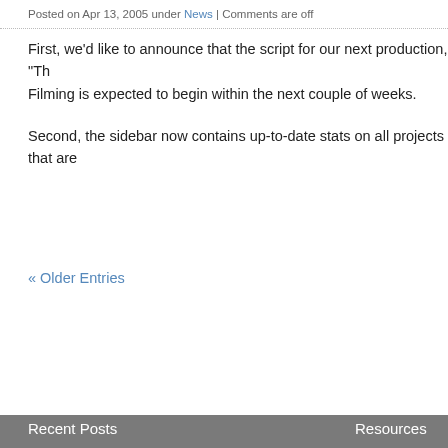Posted on Apr 13, 2005 under News | Comments are off
First, we’d like to announce that the script for our next production, “Th… Filming is expected to begin within the next couple of weeks.
Second, the sidebar now contains up-to-date stats on all projects that are…
« Older Entries
Recent Posts
PSA #1
PSA #2
CLNO – WMV
CLNO – RM
PSA 2 – WMV
Resources
Movies